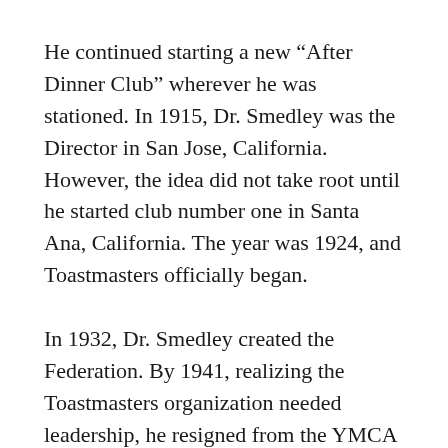He continued starting a new “After Dinner Club” wherever he was stationed. In 1915, Dr. Smedley was the Director in San Jose, California. However, the idea did not take root until he started club number one in Santa Ana, California. The year was 1924, and Toastmasters officially began.
In 1932, Dr. Smedley created the Federation. By 1941, realizing the Toastmasters organization needed leadership, he resigned from the YMCA to give Toastmasters his full-time attention. He continued his mission until his passing in 1965 at the age of 87. Today the tradition of toasting has advanced to include eloquent